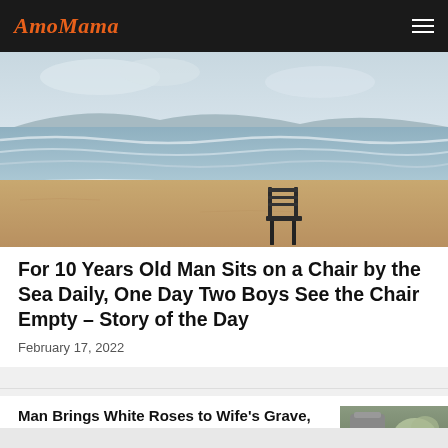AmoMama
[Figure (photo): A lone chair sitting on a sandy beach with ocean waves in the background]
For 10 Years Old Man Sits on a Chair by the Sea Daily, One Day Two Boys See the Chair Empty – Story of the Day
February 17, 2022
Man Brings White Roses to Wife's Grave, Returns Home and Sees the